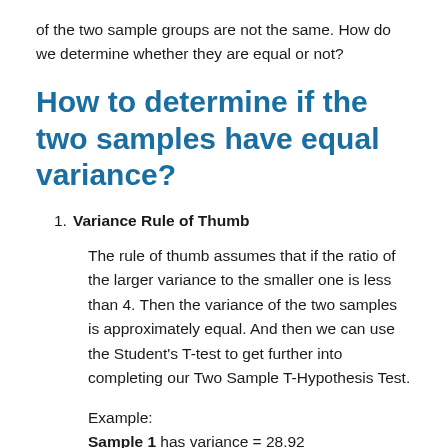of the two sample groups are not the same. How do we determine whether they are equal or not?
How to determine if the two samples have equal variance?
Variance Rule of Thumb
The rule of thumb assumes that if the ratio of the larger variance to the smaller one is less than 4. Then the variance of the two samples is approximately equal. And then we can use the Student's T-test to get further into completing our Two Sample T-Hypothesis Test.
Example:
Sample 1 has variance = 28.92
Sample 2 has variance = 10.09